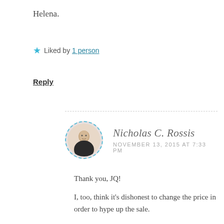Helena.
★ Liked by 1 person
Reply
Nicholas C. Rossis
NOVEMBER 13, 2015 AT 7:33 PM
Thank you, JQ!
I, too, think it's dishonest to change the price in order to hype up the sale.
As for free books, there's two kinds I download. The ones in genres I don't read but I download to